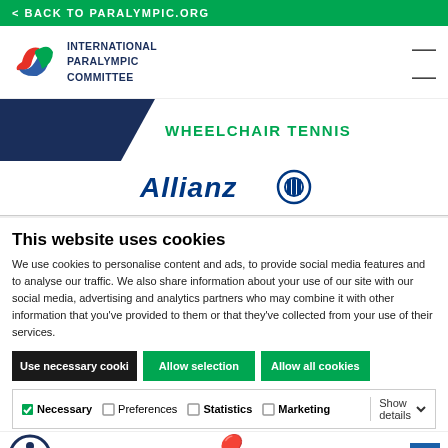< BACK TO PARALYMPIC.ORG
[Figure (logo): International Paralympic Committee logo with agitos symbol and text INTERNATIONAL PARALYMPIC COMMITTEE]
WHEELCHAIR TENNIS
[Figure (logo): Allianz logo with circular icon]
This website uses cookies
We use cookies to personalise content and ads, to provide social media features and to analyse our traffic. We also share information about your use of our site with our social media, advertising and analytics partners who may combine it with other information that you've provided to them or that they've collected from your use of their services.
Use necessary cooki
Allow selection
Allow all cookies
Necessary  Preferences  Statistics  Marketing  Show details
[Figure (logo): Bridgestone logo at bottom of page]
[Figure (logo): Accessibility icon button (person in circle)]